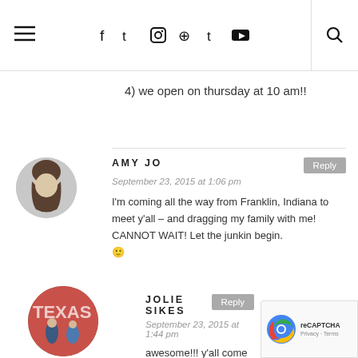≡  f  t  instagram  pinterest  tumblr  youtube  🔍
4) we open on thursday at 10 am!!
AMY JO — September 23, 2015 at 1:06 pm — I'm coming all the way from Franklin, Indiana to meet y'all – and dragging my family with me! CANNOT WAIT! Let the junkin begin. 🙂
JOLIE SIKES — September 23, 2015 at 1:44 pm — awesome!!! y'all come on